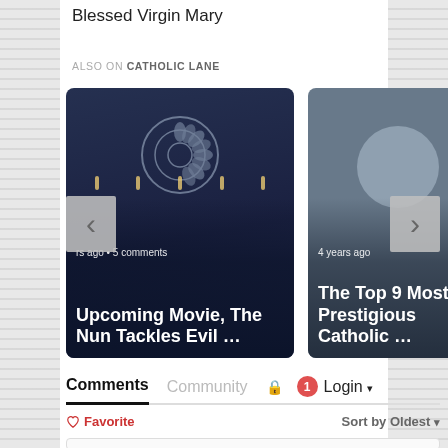Blessed Virgin Mary
ALSO ON CATHOLIC LANE
[Figure (screenshot): Carousel of two article cards. Left card: dark background showing a church interior with decorative window, text 'rs ago • 5 comments' and title 'Upcoming Movie, The Nun Tackles Evil …'. Right card: gray background with circular avatar placeholder, text '4 years ago' and partially visible title 'The Top 9 Most Prestigious Catholic …'. Navigation arrows on left and right edges.]
Comments  Community  🔒  1  Login ▾
♡ Favorite
Sort by Oldest ▾